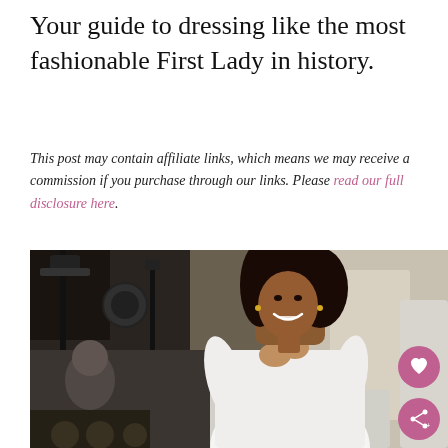Your guide to dressing like the most fashionable First Lady in history.
This post may contain affiliate links, which means we may receive a commission if you purchase through our links. Please read our full disclosure here.
[Figure (photo): A woman in a white outfit seated in a chair, smiling and gesturing with her hands, at an outdoor event with audio equipment in the background. Two circular buttons (heart and share) overlay the bottom-right of the image.]